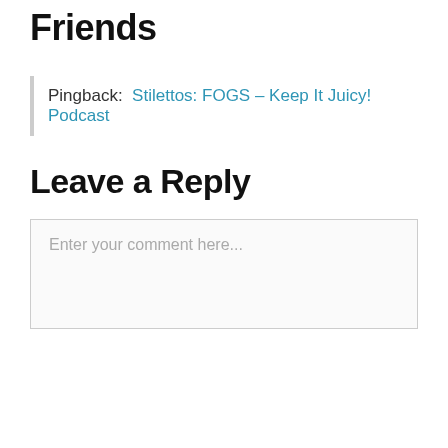Friends
Pingback: Stilettos: FOGS – Keep It Juicy! Podcast
Leave a Reply
Enter your comment here...